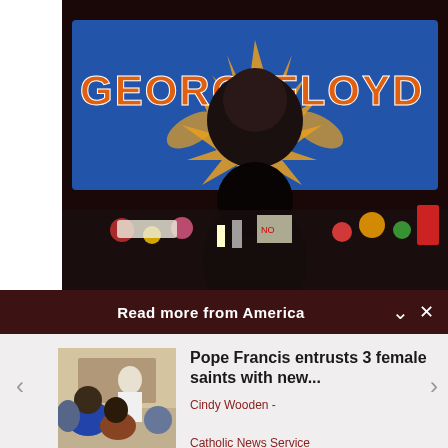[Figure (photo): A person viewed from behind looking at a colorful mural/memorial for George Floyd. The mural shows 'GEORGE FLOYD' in large orange graffiti-style letters on a blue background with a portrait. In front of the mural are flowers, tributes, and memorial items.]
Read more from America
[Figure (photo): Small thumbnail image of Pope Francis sitting and speaking with a group of people in an indoor setting.]
Pope Francis entrusts 3 female saints with new...
Cindy Wooden -

Catholic News Service